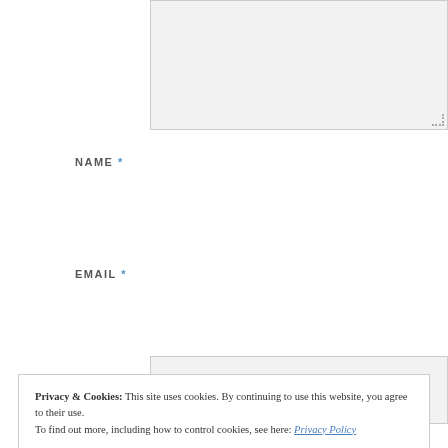[Figure (screenshot): Textarea input box (form field, top of page, partially visible, light grey background with resize handle)]
NAME *
[Figure (screenshot): Name input text field, light grey background, rectangular]
EMAIL *
[Figure (screenshot): Email input text field, light grey background, rectangular]
Privacy & Cookies: This site uses cookies. By continuing to use this website, you agree to their use.
To find out more, including how to control cookies, see here: Privacy Policy
Close and accept